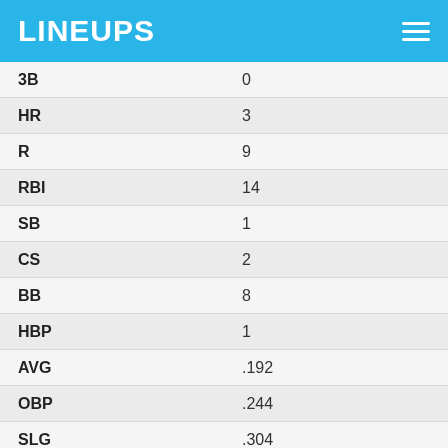LINEUPS
| Stat | Value |
| --- | --- |
| 3B | 0 |
| HR | 3 |
| R | 9 |
| RBI | 14 |
| SB | 1 |
| CS | 2 |
| BB | 8 |
| HBP | 1 |
| AVG | .192 |
| OBP | .244 |
| SLG | .304 |
| OPS | .548 |